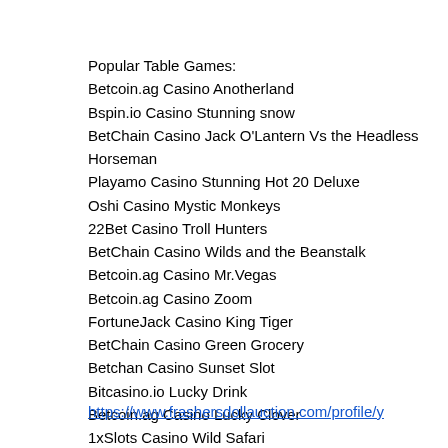Popular Table Games:
Betcoin.ag Casino Anotherland
Bspin.io Casino Stunning snow
BetChain Casino Jack O'Lantern Vs the Headless Horseman
Playamo Casino Stunning Hot 20 Deluxe
Oshi Casino Mystic Monkeys
22Bet Casino Troll Hunters
BetChain Casino Wilds and the Beanstalk
Betcoin.ag Casino Mr.Vegas
Betcoin.ag Casino Zoom
FortuneJack Casino King Tiger
BetChain Casino Green Grocery
Betchan Casino Sunset Slot
Bitcasino.io Lucky Drink
Betcoin.ag Casino Lucky Clover
1xSlots Casino Wild Safari
https://www.frashersdollauction.com/profile/y